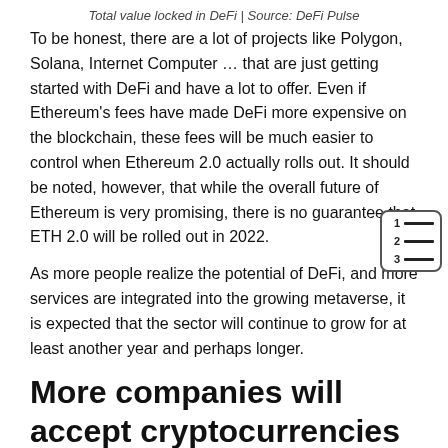Total value locked in DeFi | Source: DeFi Pulse
To be honest, there are a lot of projects like Polygon, Solana, Internet Computer … that are just getting started with DeFi and have a lot to offer. Even if Ethereum's fees have made DeFi more expensive on the blockchain, these fees will be much easier to control when Ethereum 2.0 actually rolls out. It should be noted, however, that while the overall future of Ethereum is very promising, there is no guarantee that ETH 2.0 will be rolled out in 2022.
[Figure (other): Table of contents icon showing numbered list with 3 rows]
As more people realize the potential of DeFi, and more services are integrated into the growing metaverse, it is expected that the sector will continue to grow for at least another year and perhaps longer.
More companies will accept cryptocurrencies